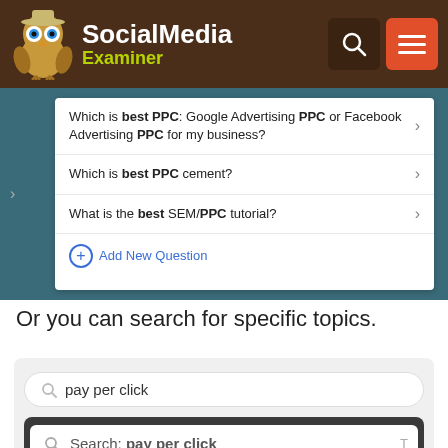Social Media Examiner
[Figure (screenshot): Screenshot of a Quora-style Q&A interface showing questions about best PPC advertising (Google vs Facebook), best PPC cement, and best SEM/PPC tutorial, with an Add New Question button.]
Or you can search for specific topics.
[Figure (screenshot): Screenshot of a search bar with 'pay per click' typed in, showing a dropdown with 'Search: pay per click' option.]